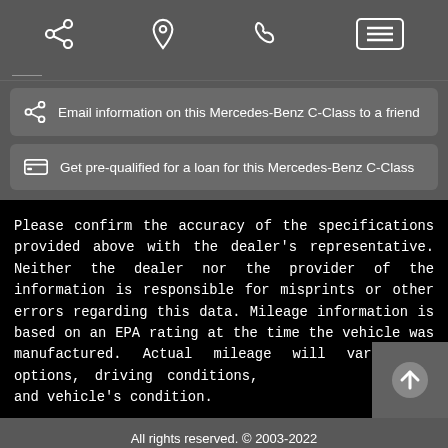Navigation bar with share, location, phone, and menu icons
Email information on this Mercedes-Benz C-Class to a friend
Get pre-qualified for a loan for this Mercedes-Benz C-Class
Please confirm the accuracy of the specifications provided above with the dealer's representative. Neither the dealer nor the provider of the information is responsible for misprints or other errors regarding this data. Mileage information is based on an EPA rating at the time the vehicle was manufactured. Actual mileage will vary with options, driving conditions, habits, and vehicle's condition.
All rights reserved. © 2003-2022
Franklin Motors Auto Sales LLC
Autofunds -- Dealership Management Software